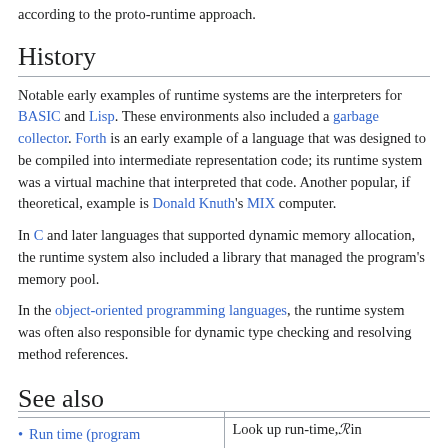according to the proto-runtime approach.
History
Notable early examples of runtime systems are the interpreters for BASIC and Lisp. These environments also included a garbage collector. Forth is an early example of a language that was designed to be compiled into intermediate representation code; its runtime system was a virtual machine that interpreted that code. Another popular, if theoretical, example is Donald Knuth's MIX computer.
In C and later languages that supported dynamic memory allocation, the runtime system also included a library that managed the program's memory pool.
In the object-oriented programming languages, the runtime system was often also responsible for dynamic type checking and resolving method references.
See also
Run time (program
Look up run-time, ℛ in